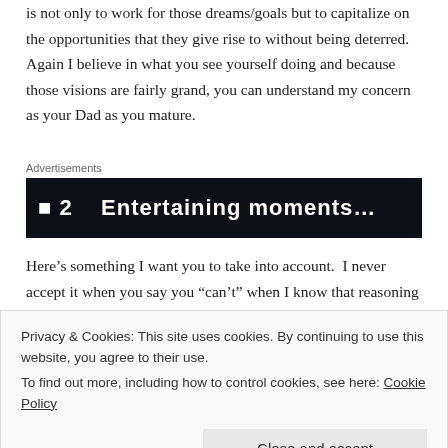is not only to work for those dreams/goals but to capitalize on the opportunities that they give rise to without being deterred.  Again I believe in what you see yourself doing and because those visions are fairly grand, you can understand my concern as your Dad as you mature.
Advertisements
[Figure (other): Dark advertisement banner with white bold text partially visible]
Here's something I want you to take into account.  I never accept it when you say you “can’t” when I know that reasoning is based on something else.
Privacy & Cookies: This site uses cookies. By continuing to use this website, you agree to their use.
To find out more, including how to control cookies, see here: Cookie Policy
I'll support you throughout it until the end.  I know how